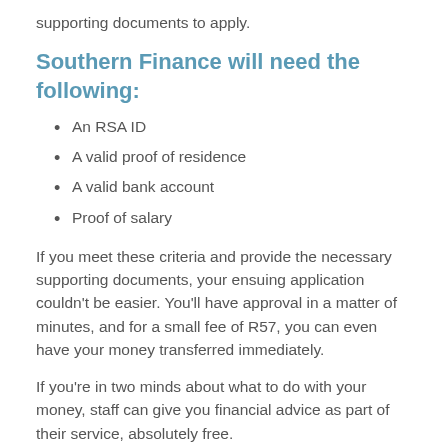supporting documents to apply.
Southern Finance will need the following:
An RSA ID
A valid proof of residence
A valid bank account
Proof of salary
If you meet these criteria and provide the necessary supporting documents, your ensuing application couldn't be easier. You'll have approval in a matter of minutes, and for a small fee of R57, you can even have your money transferred immediately.
If you're in two minds about what to do with your money, staff can give you financial advice as part of their service, absolutely free.